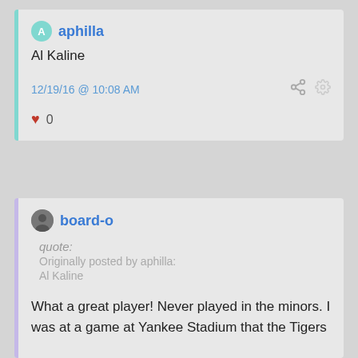aphilla
Al Kaline
12/19/16 @ 10:08 AM
♥ 0
board-o
quote:
Originally posted by aphilla:
Al Kaline
What a great player! Never played in the minors. I was at a game at Yankee Stadium that the Tigers